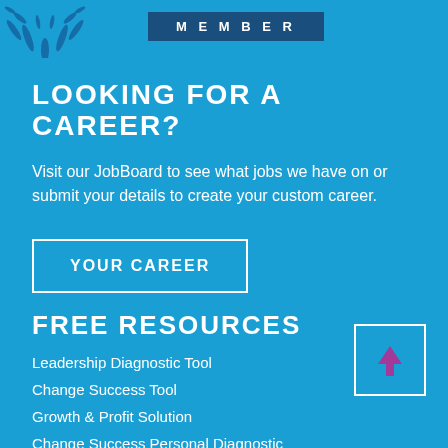[Figure (illustration): Blue coral/plant decoration in top-left corner]
MEMBER
LOOKING FOR A CAREER?
Visit our JobBoard to see what jobs we have on or submit your details to create your custom career.
YOUR CAREER
FREE RESOURCES
Leadership Diagnostic Tool
Change Success Tool
Growth & Profit Solution
Change Success Personal Diagnostic
[Figure (other): White-bordered square with purple upward arrow inside]